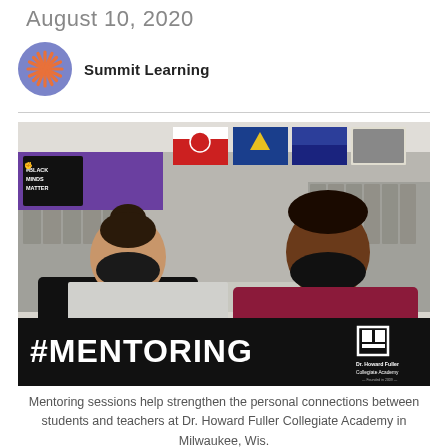August 10, 2020
Summit Learning
[Figure (photo): Two young men wearing black face masks sit in what appears to be a school hallway with lockers in the background. Flags hang on the wall. A '#BLACK MINDS MATTER' sign is visible in the upper left. The bottom of the image has a black banner reading '#MENTORING' and a logo for Dr. Howard Fuller Collegiate Academy.]
Mentoring sessions help strengthen the personal connections between students and teachers at Dr. Howard Fuller Collegiate Academy in Milwaukee, Wis.